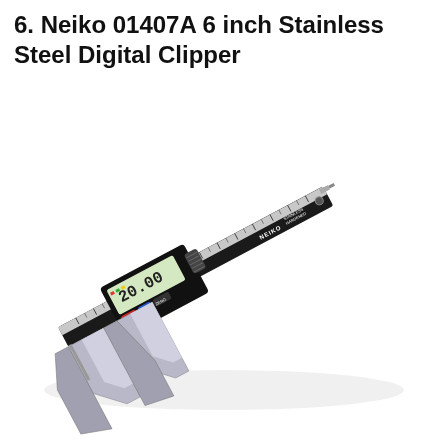6. Neiko 01407A 6 inch Stainless Steel Digital Clipper
[Figure (photo): A Neiko 01407A 6-inch stainless steel digital caliper shown diagonally. The caliper is black with a silver measuring beam marked with metric and inch scales. The digital LCD display shows '20.00'. Buttons labeled OFF, ON, ZERO are visible on the body. The brand name NEIKO and text STAINLESS HARDENED appear on the beam.]